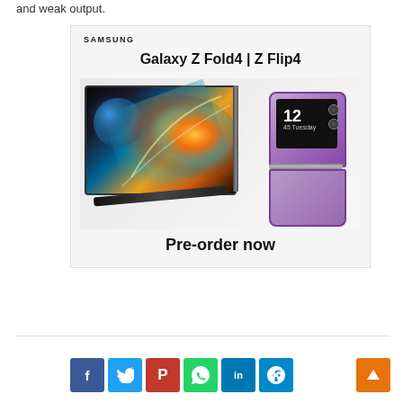and weak output.
[Figure (photo): Samsung advertisement for Galaxy Z Fold4 and Z Flip4 smartphones. Shows Samsung logo at top left, title 'Galaxy Z Fold4 | Z Flip4', product images of both phones in the center, and 'Pre-order now' text at the bottom.]
[Figure (other): Social media share buttons row: Facebook (blue, f), Twitter (light blue, bird), Pinterest (red, P), WhatsApp (green, phone), LinkedIn (blue, in), Telegram (blue, paper plane). Orange back-to-top arrow button at right.]